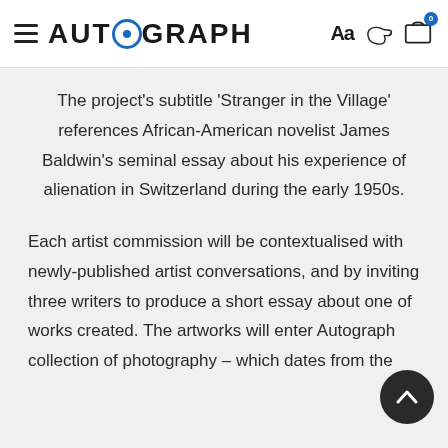AUTOGRAPH
The project’s subtitle ‘Stranger in the Village’ references African-American novelist James Baldwin’s seminal essay about his experience of alienation in Switzerland during the early 1950s.
Each artist commission will be contextualised with newly-published artist conversations, and by inviting three writers to produce a short essay about one of works created. The artworks will enter Autograph collection of photography – which dates from the